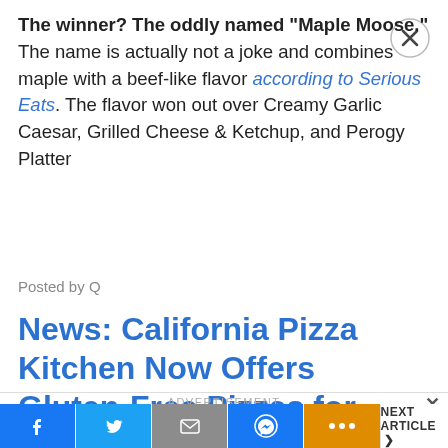The winner? The oddly named "Maple Moose." The name is actually not a joke and combines maple with a beef-like flavor according to Serious Eats. The flavor won out over Creamy Garlic Caesar, Grilled Cheese & Ketchup, and Perogy Platter
Posted by Q
News: California Pizza Kitchen Now Offers Gluten-Free Pizzas for People with Celiac Disease
ADVERTISEMENT